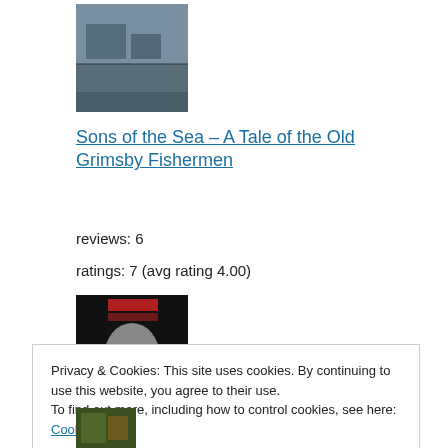[Figure (photo): Book cover thumbnail for 'Sons of the Sea – A Tale of the Old Grimsby Fishermen', dark/grey tones showing a boat scene]
Sons of the Sea – A Tale of the Old Grimsby Fishermen
reviews: 6
ratings: 7 (avg rating 4.00)
[Figure (photo): Book cover thumbnail showing a black and white portrait of a man with red text at top]
Privacy & Cookies: This site uses cookies. By continuing to use this website, you agree to their use.
To find out more, including how to control cookies, see here: Cookie Policy
[Figure (photo): Partial book cover thumbnail at bottom, green/dark tones]